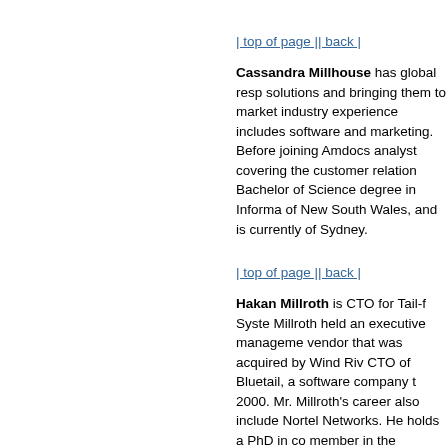| top of page || back |
Cassandra Millhouse has global resp... solutions and bringing them to market... industry experience includes software... and marketing. Before joining Amdocs... analyst covering the customer relation... Bachelor of Science degree in Informa... of New South Wales, and is currently... of Sydney.
| top of page || back |
Hakan Millroth is CTO for Tail-f Syste... Millroth held an executive manageme... vendor that was acquired by Wind Riv... CTO of Bluetail, a software company t... 2000. Mr. Millroth's career also include... Nortel Networks. He holds a PhD in co... member in the computer science depa...
| top of page || back |
Steve Mills is the president of the IEE... has actively contributed to the governa... is retired from Hewlett-Packard Comp... research and development of product...